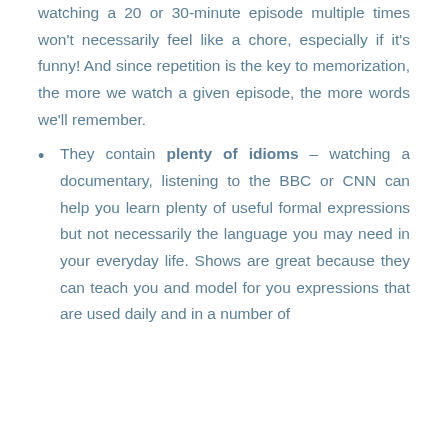watching a 20 or 30-minute episode multiple times won't necessarily feel like a chore, especially if it's funny! And since repetition is the key to memorization, the more we watch a given episode, the more words we'll remember.
They contain plenty of idioms – watching a documentary, listening to the BBC or CNN can help you learn plenty of useful formal expressions but not necessarily the language you may need in your everyday life. Shows are great because they can teach you and model for you expressions that are used daily and in a number of